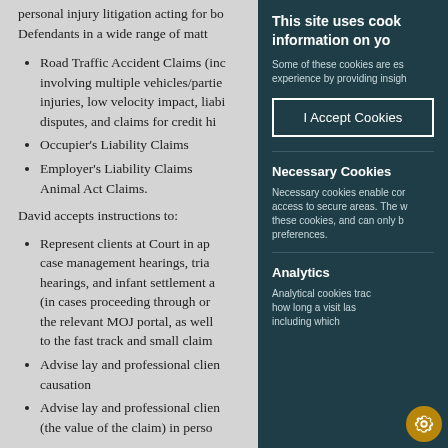personal injury litigation acting for both Claimants and Defendants in a wide range of matters including:
Road Traffic Accident Claims (including cases involving multiple vehicles/parties, catastrophic injuries, low velocity impact, liability and quantum disputes, and claims for credit hire)
Occupier's Liability Claims
Employer's Liability Claims Animal Act Claims.
David accepts instructions to:
Represent clients at Court in applications, case management hearings, trials, costs hearings, and infant settlement approvals (in cases proceeding through or exiting the relevant MOJ portal, as well as cases to the fast track and small claims track)
Advise lay and professional clients on liability, causation
Advise lay and professional clients on quantum (the value of the claim) in person
This site uses cookies to store information on your device.
Some of these cookies are essential to give you the best experience by providing insights
I Accept Cookies
Necessary Cookies
Necessary cookies enable core functionality such as access to secure areas. The website cannot function without these cookies, and can only be disabled by changing your preferences.
Analytics
Analytical cookies track visits to our website and show how long a visit lasts and what pages were visited, including which